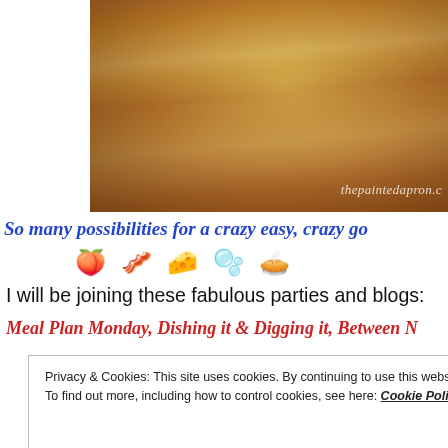[Figure (photo): Close-up photo of a baked rice dish with cheese, bacon/ham, and other toppings on a dark pan, with watermark 'thepaintedapron.c' visible]
So many possibilities for a crazy easy, crazy go
🍑 🥓 🧀 🧅 🥧
I will be joining these fabulous parties and blogs:
Meal Plan Monday, Dishing it & Digging it, Between N
Privacy & Cookies: This site uses cookies. By continuing to use this website, you agree to their use. To find out more, including how to control cookies, see here: Cookie Policy
Close and accept